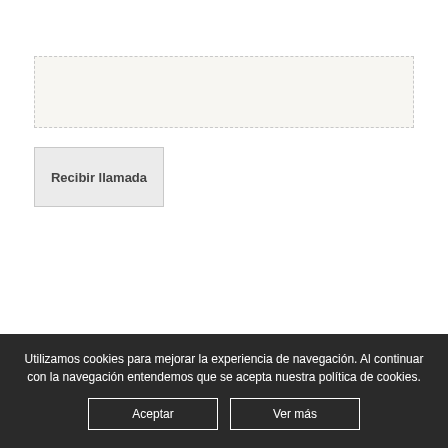[Figure (screenshot): Empty text input field with dashed border and light beige background]
Recibir llamada
Utilizamos cookies para mejorar la experiencia de navegación. Al continuar con la navegación entendemos que se acepta nuestra política de cookies.
Aceptar
Ver más